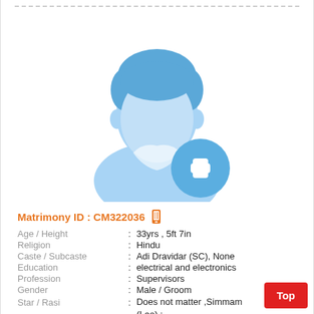[Figure (illustration): Male profile placeholder icon with a blue add/plus button overlay in the bottom right]
Matrimony ID : CM322036
| Age / Height | : | 33yrs , 5ft 7in |
| Religion | : | Hindu |
| Caste / Subcaste | : | Adi Dravidar (SC), None |
| Education | : | electrical and electronics |
| Profession | : | Supervisors |
| Gender | : | Male / Groom |
| Star / Rasi | : | Does not matter ,Simmam (Leo) ; |
| Language | : | Tamil |